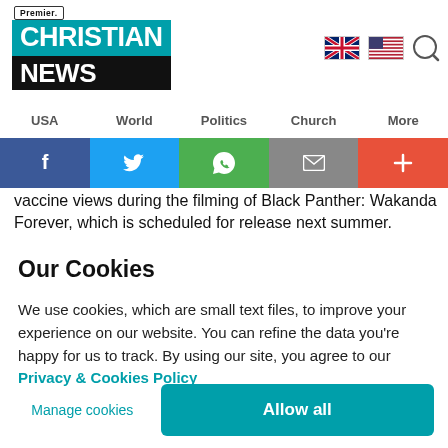Premier. Christian News
USA   World   Politics   Church   More
[Figure (infographic): Social share bar with Facebook, Twitter, WhatsApp, Email, and Plus buttons]
vaccine views during the filming of Black Panther: Wakanda Forever, which is scheduled for release next summer.
Our Cookies
We use cookies, which are small text files, to improve your experience on our website. You can refine the data you’re happy for us to track. By using our site, you agree to our Privacy & Cookies Policy
Manage cookies   Allow all